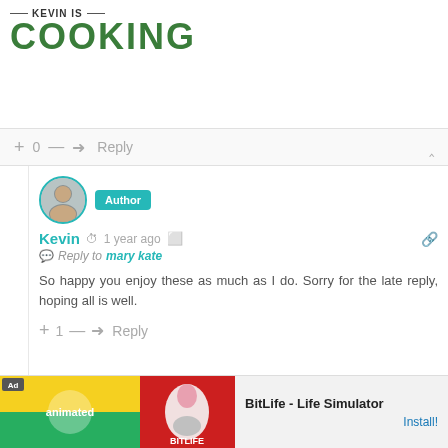[Figure (logo): Kevin Is Cooking logo with green bold text]
+ 0 — Reply
[Figure (photo): Author avatar photo of Kevin with teal Author badge]
Kevin   1 year ago
Reply to mary kate
So happy you enjoy these as much as I do. Sorry for the late reply, hoping all is well.
+ 1 — Reply
[Figure (photo): Generic user avatar icon for Jude Ann]
Jude Ann   1 year ago
★★★★★
Wow K...hese tonight...were
[Figure (screenshot): Ad banner: BitLife - Life Simulator with Install button]